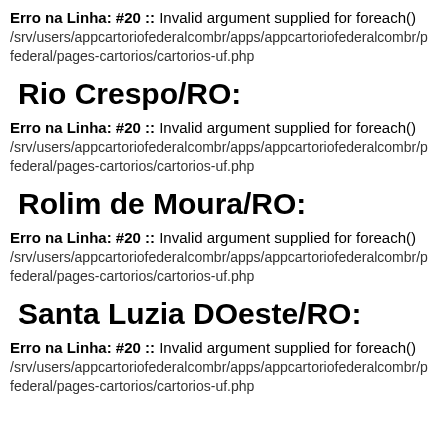Erro na Linha: #20 :: Invalid argument supplied for foreach() /srv/users/appcartoriofederalcombr/apps/appcartoriofederalcombr/p federal/pages-cartorios/cartorios-uf.php
Rio Crespo/RO:
Erro na Linha: #20 :: Invalid argument supplied for foreach() /srv/users/appcartoriofederalcombr/apps/appcartoriofederalcombr/p federal/pages-cartorios/cartorios-uf.php
Rolim de Moura/RO:
Erro na Linha: #20 :: Invalid argument supplied for foreach() /srv/users/appcartoriofederalcombr/apps/appcartoriofederalcombr/p federal/pages-cartorios/cartorios-uf.php
Santa Luzia DOeste/RO:
Erro na Linha: #20 :: Invalid argument supplied for foreach() /srv/users/appcartoriofederalcombr/apps/appcartoriofederalcombr/p federal/pages-cartorios/cartorios-uf.php